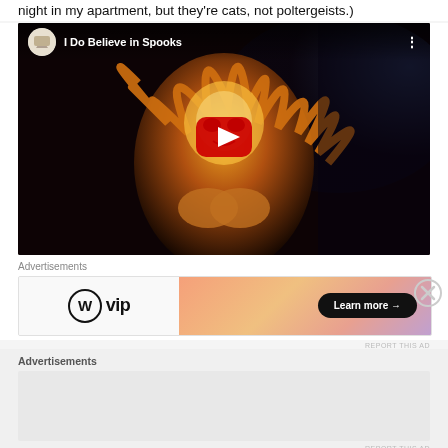night in my apartment, but they're cats, not poltergeists.)
[Figure (screenshot): YouTube video thumbnail titled 'I Do Believe in Spooks' showing a fiery creature with a YouTube play button overlay]
Advertisements
[Figure (screenshot): WordPress VIP advertisement banner with 'Learn more →' button on gradient background]
REPORT THIS AD
Advertisements
REPORT THIS AD